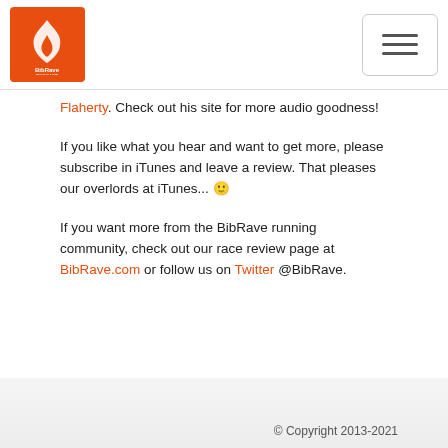BibRave Podcast logo and navigation
Flaherty. Check out his site for more audio goodness!
If you like what you hear and want to get more, please subscribe in iTunes and leave a review. That pleases our overlords at iTunes... 🙂
If you want more from the BibRave running community, check out our race review page at BibRave.com or follow us on Twitter @BibRave.
© Copyright 2013-2021